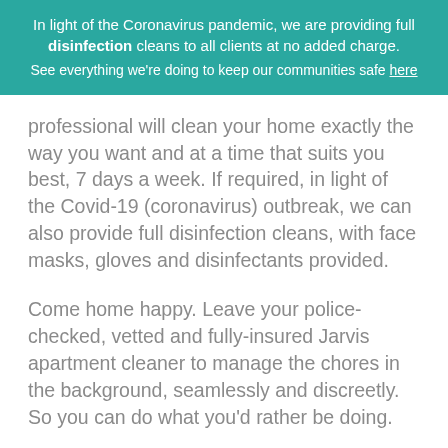In light of the Coronavirus pandemic, we are providing full disinfection cleans to all clients at no added charge. See everything we're doing to keep our communities safe here
professional will clean your home exactly the way you want and at a time that suits you best, 7 days a week. If required, in light of the Covid-19 (coronavirus) outbreak, we can also provide full disinfection cleans, with face masks, gloves and disinfectants provided.
Come home happy. Leave your police-checked, vetted and fully-insured Jarvis apartment cleaner to manage the chores in the background, seamlessly and discreetly. So you can do what you'd rather be doing.